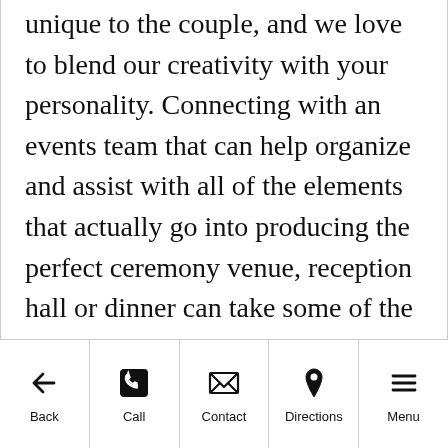unique to the couple, and we love to blend our creativity with your personality. Connecting with an events team that can help organize and assist with all of the elements that actually go into producing the perfect ceremony venue, reception hall or dinner can take some of the stress off your plate while also giving you peace of mind to know that your decor and dining will be on point.
Back | Call | Contact | Directions | Menu